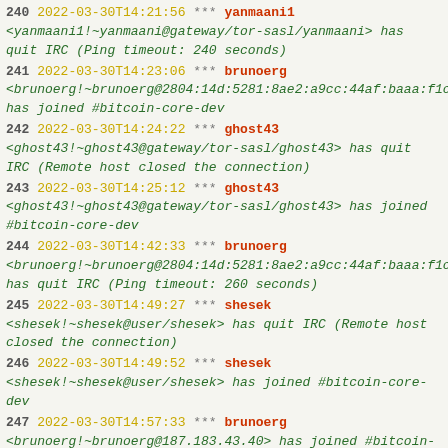240 2022-03-30T14:21:56 *** yanmaani1 <yanmaani1!~yanmaani@gateway/tor-sasl/yanmaani> has quit IRC (Ping timeout: 240 seconds)
241 2022-03-30T14:23:06 *** brunoerg <brunoerg!~brunoerg@2804:14d:5281:8ae2:a9cc:44af:baaa:f1c has joined #bitcoin-core-dev
242 2022-03-30T14:24:22 *** ghost43 <ghost43!~ghost43@gateway/tor-sasl/ghost43> has quit IRC (Remote host closed the connection)
243 2022-03-30T14:25:12 *** ghost43 <ghost43!~ghost43@gateway/tor-sasl/ghost43> has joined #bitcoin-core-dev
244 2022-03-30T14:42:33 *** brunoerg <brunoerg!~brunoerg@2804:14d:5281:8ae2:a9cc:44af:baaa:f1c has quit IRC (Ping timeout: 260 seconds)
245 2022-03-30T14:49:27 *** shesek <shesek!~shesek@user/shesek> has quit IRC (Remote host closed the connection)
246 2022-03-30T14:49:52 *** shesek <shesek!~shesek@user/shesek> has joined #bitcoin-core-dev
247 2022-03-30T14:57:33 *** brunoerg <brunoerg!~brunoerg@187.183.43.40> has joined #bitcoin-core-dev
248 2022-03-30T15:08:57 *** ziggie <ziggie!uid521459@user/ziggie> has joined #bitcoin-core-dev
249 2022-03-30T15:10:27 *** bitcoin-git <bitcoin-